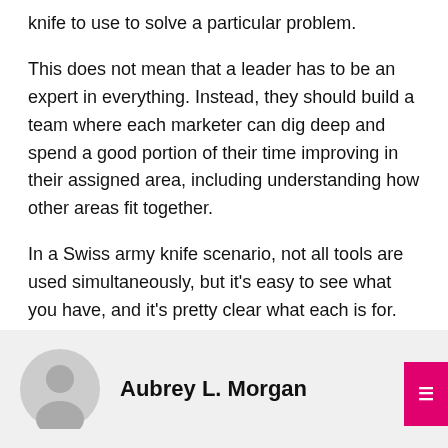knife to use to solve a particular problem.
This does not mean that a leader has to be an expert in everything. Instead, they should build a team where each marketer can dig deep and spend a good portion of their time improving in their assigned area, including understanding how other areas fit together.
In a Swiss army knife scenario, not all tools are used simultaneously, but it’s easy to see what you have, and it’s pretty clear what each is for.
Aubrey L. Morgan